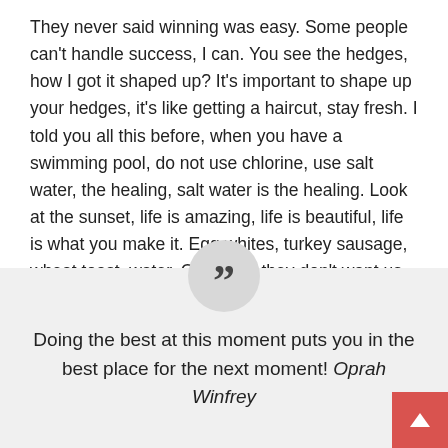They never said winning was easy. Some people can't handle success, I can. You see the hedges, how I got it shaped up? It's important to shape up your hedges, it's like getting a haircut, stay fresh. I told you all this before, when you have a swimming pool, do not use chlorine, use salt water, the healing, salt water is the healing. Look at the sunset, life is amazing, life is beautiful, life is what you make it. Egg whites, turkey sausage, wheat toast, water. Of course they don't want us to eat our breakfast, so we are going to enjoy our breakfast.
Doing the best at this moment puts you in the best place for the next moment! Oprah Winfrey